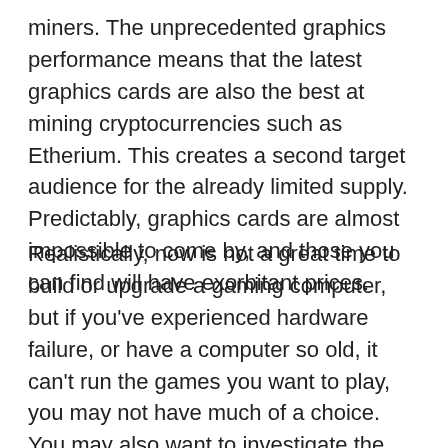miners. The unprecedented graphics performance means that the latest graphics cards are also the best at mining cryptocurrencies such as Etherium. This creates a second target audience for the already limited supply. Predictably, graphics cards are almost impossible to come by, and those you can find will have exorbitant prices.
Realistically, now is not a great time to build or upgrade a gaming computer, but if you've experienced hardware failure, or have a computer so old, it can't run the games you want to play, you may not have much of a choice. You may also want to investigate the possibility of buying a pre-built computer rather than individual parts. In case you are set on getting a new GPU we've drawn up a list of the best graphics cards in 2021.